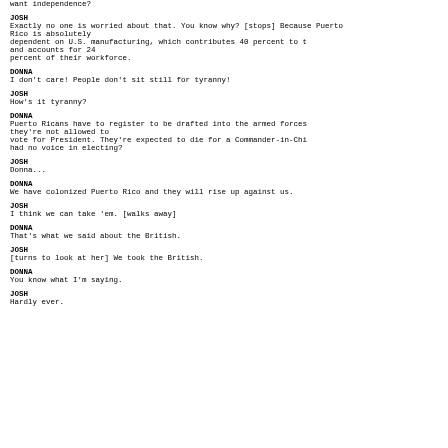want independence?
JOSH
Exactly no one is worried about that. You know why? [stops] Because Puerto
Rico is absolutely
dependent on U.S. manufacturing, which contributes 40 percent to the GDP
and accounts for 24
percent of their workforce.
DONNA
I don't care! People don't sit still for tyranny!
JOSH
How's it tyranny?
DONNA
Puerto Ricans have to register to be drafted into the armed forces but
they're not allowed to
vote for President. They're expected to die for a Commander-in-Chief they
had no voice in electing?
JOSH
Donna...
DONNA
We have colonized Puerto Rico and they will rise up against us.
JOSH
I think we can take 'em. [walks away]
DONNA
That's what we said about the British.
JOSH
[turns to look at her] We took the British.
DONNA
You know what I'm saying.
JOSH
Hardly ever.